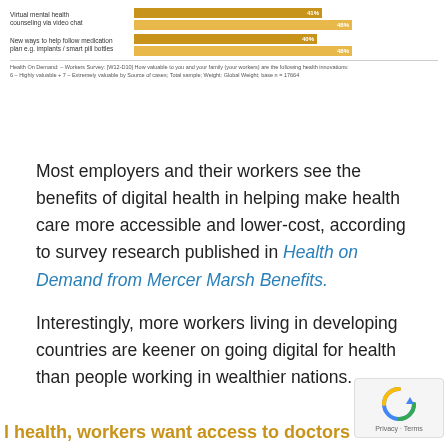[Figure (bar-chart): Health innovations valued by workers]
Health On Demand: – Workers Survey: [W12-D10] How valuable to you and your family (your workers) are the following health innovations: 6 – Highly valuable + 7 – Extremely valuable by Source of cases;  Total sample; Weight: Global Weight; base n = 17664
Most employers and their workers see the benefits of digital health in helping make health care more accessible and lower-cost, according to survey research published in Health on Demand from Mercer Marsh Benefits.
Interestingly, more workers living in developing countries are keener on going digital for health than people working in wealthier nations.
l health, workers want access to doctors on